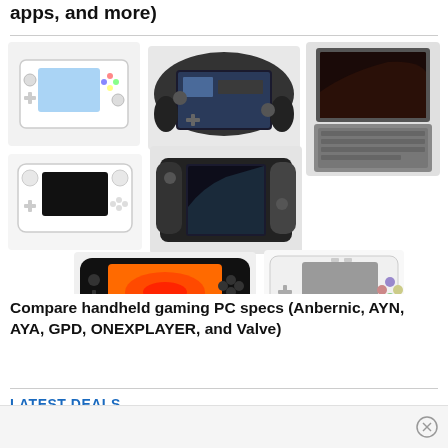apps, and more)
[Figure (photo): Collage of handheld gaming PCs and devices including white handheld emulator, Steam Deck, laptop mini PC, slim white handheld, Switch-style handheld, black handheld with orange screen, and white retro-style handheld]
Compare handheld gaming PC specs (Anbernic, AYN, AYA, GPD, ONEXPLAYER, and Valve)
LATEST DEALS